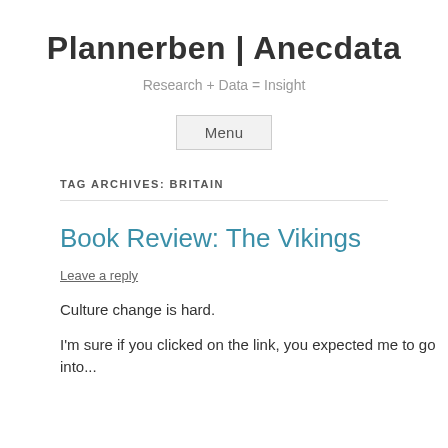Plannerben | Anecdata
Research + Data = Insight
Menu
TAG ARCHIVES: BRITAIN
Book Review: The Vikings
Leave a reply
Culture change is hard.
I'm sure if you clicked on the link, you expected me to go into...